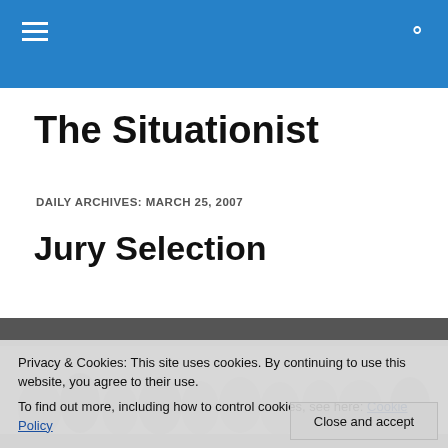The Situationist — navigation header with menu and search icons
The Situationist
DAILY ARCHIVES: MARCH 25, 2007
Jury Selection
[Figure (photo): Black and white crowd photo used as background for article]
Privacy & Cookies: This site uses cookies. By continuing to use this website, you agree to their use. To find out more, including how to control cookies, see here: Cookie Policy
Close and accept